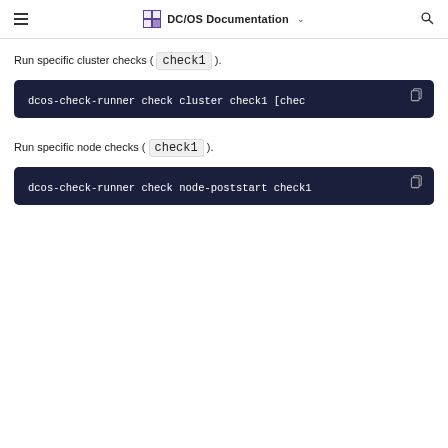DC/OS Documentation
Run specific cluster checks ( check1 ).
dcos-check-runner check cluster check1 [chec
Run specific node checks ( check1 ).
dcos-check-runner check node-poststart check1